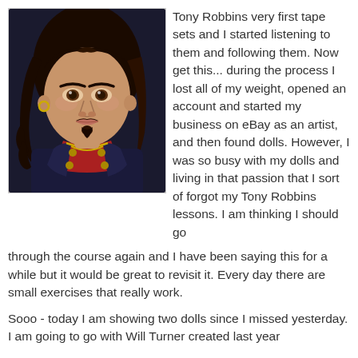[Figure (illustration): A detailed illustrated doll figure resembling Will Turner from Pirates of the Caribbean, with long dark curly hair, a gold hoop earring, a goatee, wearing a red shirt and dark jacket with brass buttons, and a gold chain necklace.]
Tony Robbins very first tape sets and I started listening to them and following them. Now get this... during the process I lost all of my weight, opened an account and started my business on eBay as an artist, and then found dolls. However, I was so busy with my dolls and living in that passion that I sort of forgot my Tony Robbins lessons. I am thinking I should go through the course again and I have been saying this for a while but it would be great to revisit it. Every day there are small exercises that really work.
Sooo - today I am showing two dolls since I missed yesterday. I am going to go with Will Turner created last year